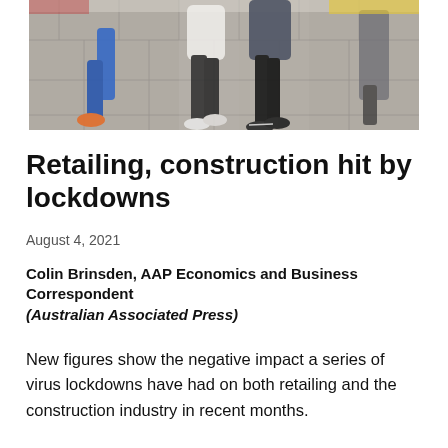[Figure (photo): People walking on a tiled urban footpath/plaza, shot from ankle level showing legs and sneakers in motion.]
Retailing, construction hit by lockdowns
August 4, 2021
Colin Brinsden, AAP Economics and Business Correspondent
(Australian Associated Press)
New figures show the negative impact a series of virus lockdowns have had on both retailing and the construction industry in recent months.